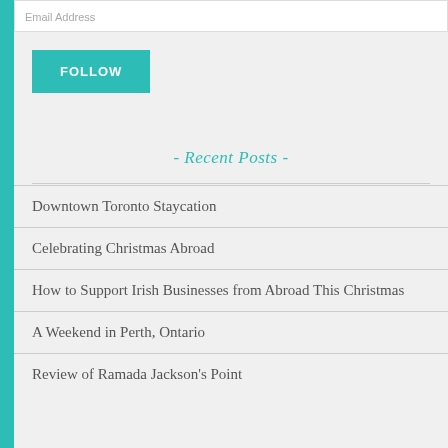Email Address
FOLLOW
- Recent Posts -
Downtown Toronto Staycation
Celebrating Christmas Abroad
How to Support Irish Businesses from Abroad This Christmas
A Weekend in Perth, Ontario
Review of Ramada Jackson's Point